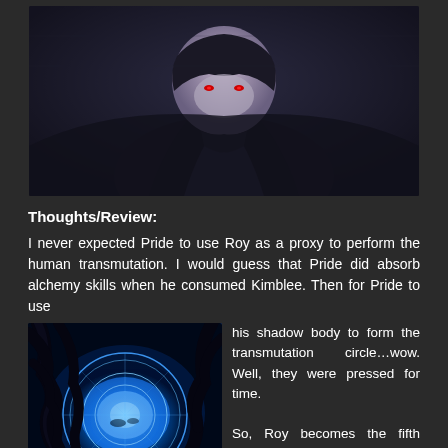[Figure (illustration): Anime screenshot of a dark figure (likely Pride) crouching down, with a dark cape and red eyes, against a grey/dark background.]
Thoughts/Review:
I never expected Pride to use Roy as a proxy to perform the human transmutation. I would guess that Pride did absorb alchemy skills when he consumed Kimblee. Then for Pride to use his shadow body to form the transmutation circle…wow. Well, they were pressed for time.
[Figure (illustration): Anime screenshot showing a blue glowing transmutation circle with dark shadow tendrils around it and figures inside.]
So, Roy becomes the fifth sacrifice and Father was still thwarted since Al's soul was at the Gate of Truth. So, if Al had reunited body and soul, does that mean he wouldn't have qualified as a sacrifice since his sacrifice would have been nullified? That's the impression I was left with. If true, then Father used human compassion again...